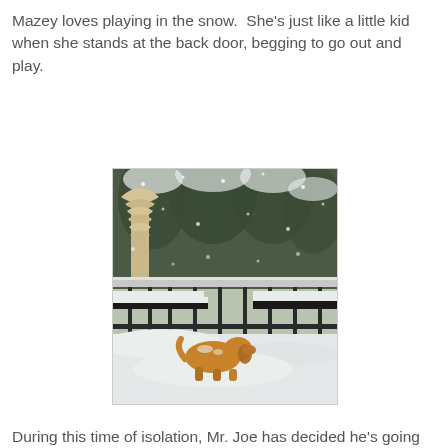Mazey loves playing in the snow.  She's just like a little kid when she stands at the back door, begging to go out and play.
[Figure (photo): A golden/brown dog playing in heavy snow on a deck or patio with snow-covered furniture and a folded patio umbrella, surrounded by snow-laden evergreen trees in the background.]
During this time of isolation, Mr. Joe has decided he's going